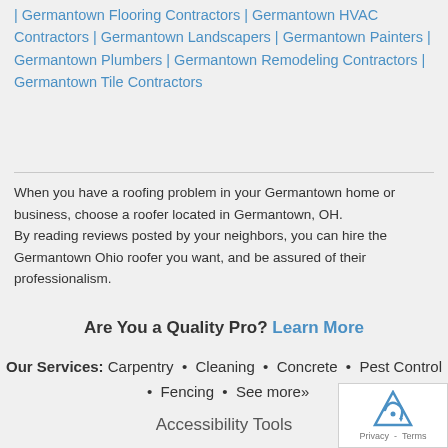| Germantown Flooring Contractors | Germantown HVAC Contractors | Germantown Landscapers | Germantown Painters | Germantown Plumbers | Germantown Remodeling Contractors | Germantown Tile Contractors
When you have a roofing problem in your Germantown home or business, choose a roofer located in Germantown, OH. By reading reviews posted by your neighbors, you can hire the Germantown Ohio roofer you want, and be assured of their professionalism.
Are You a Quality Pro? Learn More
Our Services: Carpentry • Cleaning • Concrete • Pest Control • Fencing • See more»
Accessibility Tools